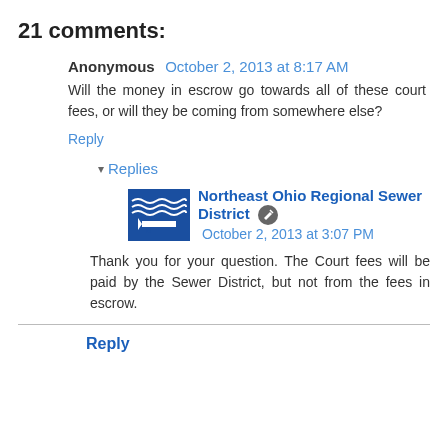21 comments:
Anonymous October 2, 2013 at 8:17 AM
Will the money in escrow go towards all of these court fees, or will they be coming from somewhere else?
Reply
▾ Replies
Northeast Ohio Regional Sewer District October 2, 2013 at 3:07 PM
Thank you for your question. The Court fees will be paid by the Sewer District, but not from the fees in escrow.
Reply